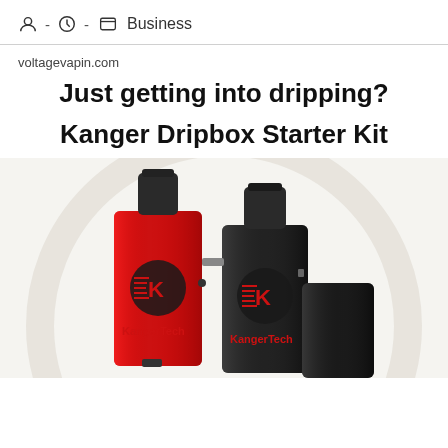Business
voltagevapin.com
Just getting into dripping?
Kanger Dripbox Starter Kit
[Figure (photo): Photo of two Kanger Dripbox Starter Kit devices — one red and one black — both with KangerTech branding, displayed against a light beige/cream background with a large circular design element.]